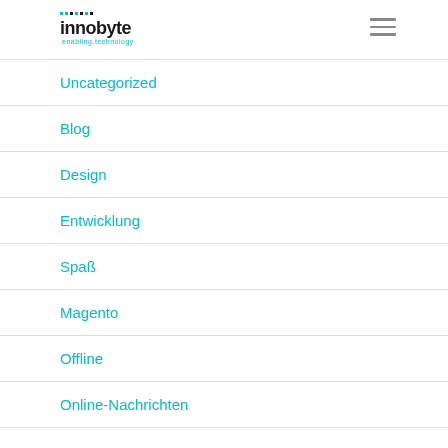innobyte enabling.technology
Uncategorized
Blog
Design
Entwicklung
Spaß
Magento
Offline
Online-Nachrichten